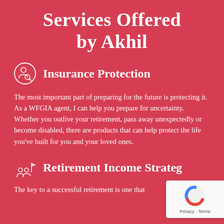Services Offered by Akhil
Insurance Protection
The most important part of preparing for the future is protecting it. As a WFGIA agent, I can help you prepare for uncertainty. Whether you outlive your retirement, pass away unexpectedly or become disabled, there are products that can help protect the life you’ve built for you and your loved ones.
Retirement Income Strateg…
The key to a successful retirement is one that